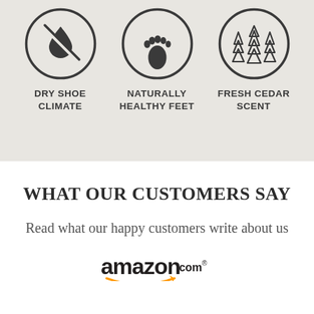[Figure (infographic): Three circular icons in a row on a beige background. Left: water drop with a cross/slash (dry shoe climate). Center: footprint (naturally healthy feet). Right: cedar trees (fresh cedar scent).]
DRY SHOE CLIMATE
NATURALLY HEALTHY FEET
FRESH CEDAR SCENT
WHAT OUR CUSTOMERS SAY
Read what our happy customers write about us
[Figure (logo): amazon.com logo]